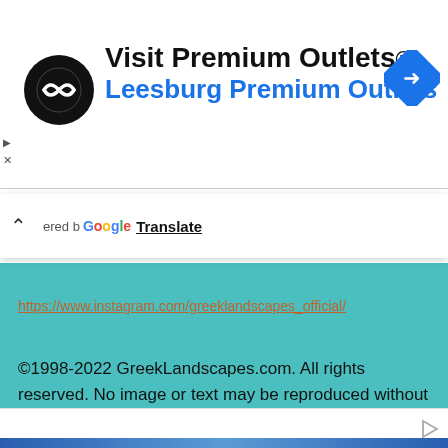[Figure (screenshot): Advertisement banner for Visit Premium Outlets - Leesburg Premium Outlets with circular logo and navigation arrow icon]
[Figure (screenshot): Google Translate toolbar with caret/collapse button and 'Google Translate' branding]
https://www.instagram.com/greeklandscapes_official/
©1998-2022 GreekLandscapes.com. All rights reserved. No image or text may be reproduced without written permission.
[Figure (screenshot): Bottom advertisement strip with play button icon and blue bar]